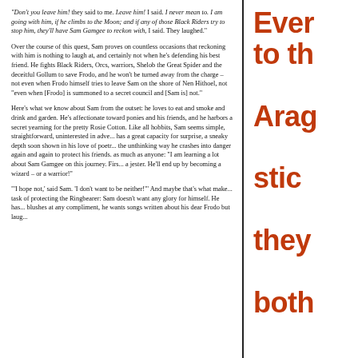"Don't you leave him! they said to me. Leave him! I said. I never mean to. I am going with him, if he climbs to the Moon; and if any of those Black Riders try to stop him, they'll have Sam Gamgee to reckon with, I said. They laughed."

Over the course of this quest, Sam proves on countless occasions that reckoning with him is nothing to laugh at, and certainly not when he's defending his best friend. He fights Black Riders, Orcs, warriors, Shelob the Great Spider and the deceitful Gollum to save Frodo, and he won't be turned away from the charge – not even when Frodo himself tries to leave Sam on the shore of Nen Hithoel, not "even when [Frodo] is summoned to a secret council and [Sam is] not."

Here's what we know about Sam from the outset: he loves to eat and smoke and drink and garden. He's affectionate toward ponies and his friends, and he harbors a secret yearning for the pretty Rosie Cotton. Like all hobbits, Sam seems simple, straightforward, uninterested in adve... has a great capacity for surprise, a sneaky depth soon shown in his love of poetr... the unthinking way he crashes into danger again and again to protect his friends. as much as anyone: "I am learning a lot about Sam Gamgee on this journey. Firs... a jester. He'll end up by becoming a wizard – or a warrior!"

"'I hope not,' said Sam. 'I don't want to be neither!'" And maybe that's what make... task of protecting the Ringbearer: Sam doesn't want any glory for himself. He has... blushes at any compliment, he wants songs written about his dear Frodo but laug...
Ever to th Arag stic they both